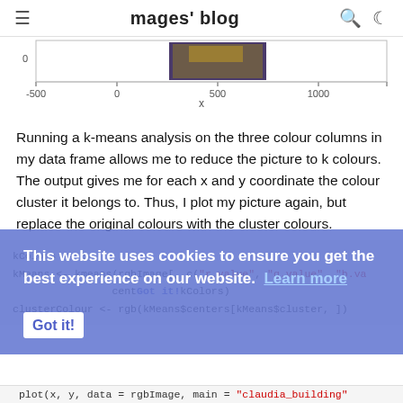mages' blog
[Figure (continuous-plot): Partial view of a scatter/image plot showing x-axis labels: -500, 0, 500, 1000, and axis label 'x'. A photo thumbnail is visible in the plot area.]
Running a k-means analysis on the three colour columns in my data frame allows me to reduce the picture to k colours. The output gives me for each x and y coordinate the colour cluster it belongs to. Thus, I plot my picture again, but replace the original colours with the cluster colours.
This website uses cookies to ensure you get the best experience on our website. Learn more
plot(x, y, data = rgbImage, main = "claudia_building"